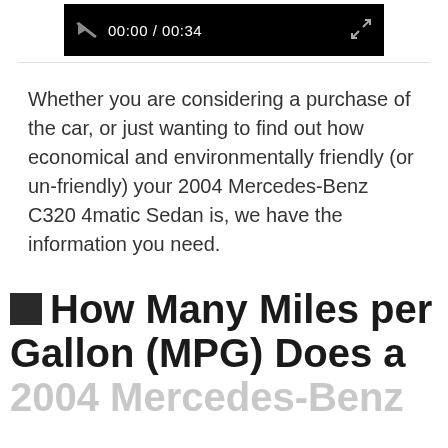[Figure (screenshot): Video player control bar showing muted speaker icon, timestamp 00:00 / 00:34, and expand icon on black background]
Whether you are considering a purchase of the car, or just wanting to find out how economical and environmentally friendly (or un-friendly) your 2004 Mercedes-Benz C320 4matic Sedan is, we have the information you need.
⬛ How Many Miles per Gallon (MPG) Does a 2004 Mercedes-Benz